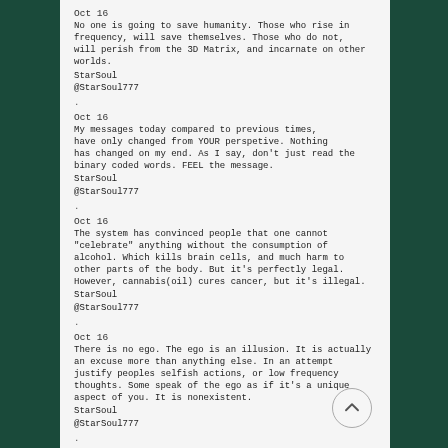Oct 16
No one is going to save humanity. Those who rise in frequency, will save themselves. Those who do not, will perish from the 3D Matrix, and incarnate on other worlds.
StarSoul
@StarSoul777
Oct 16
My messages today compared to previous times, have only changed from YOUR perspetive. Nothing has changed on my end. As I say, don't just read the binary coded words. FEEL the message.
StarSoul
@StarSoul777
Oct 16
The system has convinced people that one cannot 'celebrate' anything without the consumption of alcohol. Which kills brain cells, and much harm to other parts of the body. But it's perfectly legal. However, cannabis(oil) cures cancer, but it's illegal.
StarSoul
@StarSoul777
Oct 16
There is no ego. The ego is an illusion. It is actually an excuse more than anything else. In an attempt justify peoples selfish actions, or low frequency thoughts. Some speak of the ego as if it's a unique aspect of you. It is nonexistent.
StarSoul
@StarSoul777